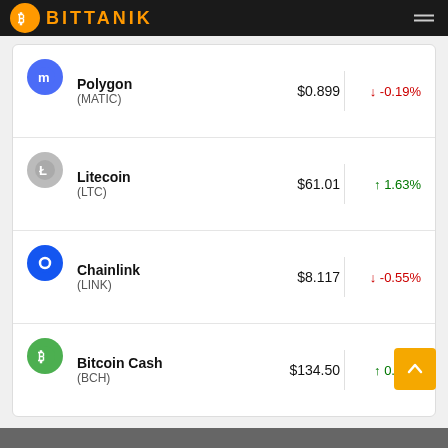BITTANIK
| Coin | Price | Change |
| --- | --- | --- |
| Polygon (MATIC) | $0.899 | ↓ -0.19% |
| Litecoin (LTC) | $61.01 | ↑ 1.63% |
| Chainlink (LINK) | $8.117 | ↓ -0.55% |
| Bitcoin Cash (BCH) | $134.50 | ↑ 0.60% |
Full Marketcap List